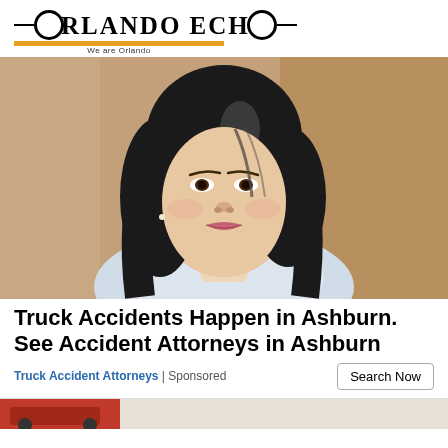ORLANDO ECHO — We are Orlando
[Figure (photo): Portrait of a smiling Asian woman with short black hair wearing a white blouse, photographed against a warm brown background.]
Truck Accidents Happen in Ashburn. See Accident Attorneys in Ashburn
Truck Accident Attorneys | Sponsored
[Figure (photo): Partial bottom strip showing another image, partially visible at the bottom of the page.]